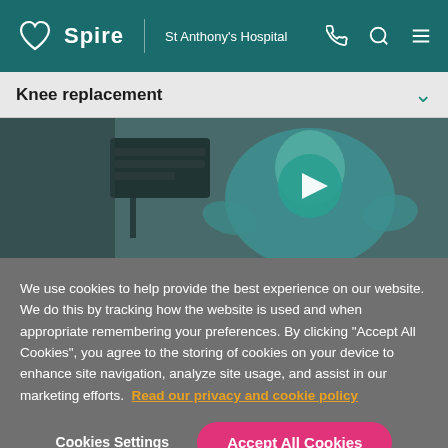Spire | St Anthony's Hospital
Knee replacement
[Figure (screenshot): Video thumbnail showing a person in a teal t-shirt with a teal circular play button overlay, and medical equipment visible on the left side of the frame.]
We use cookies to help provide the best experience on our website. We do this by tracking how the website is used and when appropriate remembering your preferences. By clicking "Accept All Cookies", you agree to the storing of cookies on your device to enhance site navigation, analyze site usage, and assist in our marketing efforts. Read our privacy and cookie policy
Cookies Settings
Accept All Cookies